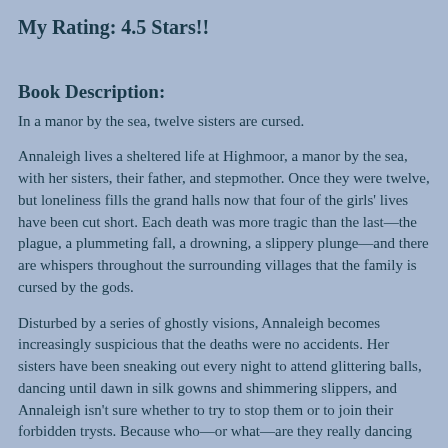My Rating: 4.5 Stars!!
Book Description:
In a manor by the sea, twelve sisters are cursed.
Annaleigh lives a sheltered life at Highmoor, a manor by the sea, with her sisters, their father, and stepmother. Once they were twelve, but loneliness fills the grand halls now that four of the girls' lives have been cut short. Each death was more tragic than the last—the plague, a plummeting fall, a drowning, a slippery plunge—and there are whispers throughout the surrounding villages that the family is cursed by the gods.
Disturbed by a series of ghostly visions, Annaleigh becomes increasingly suspicious that the deaths were no accidents. Her sisters have been sneaking out every night to attend glittering balls, dancing until dawn in silk gowns and shimmering slippers, and Annaleigh isn't sure whether to try to stop them or to join their forbidden trysts. Because who—or what—are they really dancing